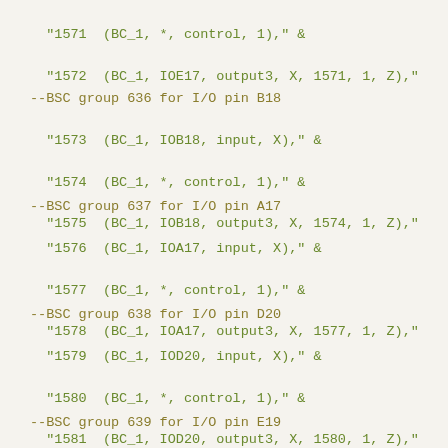"1571  (BC_1, *, control, 1)," &
"1572  (BC_1, IOE17, output3, X, 1571, 1, Z),"
--BSC group 636 for I/O pin B18
"1573  (BC_1, IOB18, input, X)," &
"1574  (BC_1, *, control, 1)," &
"1575  (BC_1, IOB18, output3, X, 1574, 1, Z),"
--BSC group 637 for I/O pin A17
"1576  (BC_1, IOA17, input, X)," &
"1577  (BC_1, *, control, 1)," &
"1578  (BC_1, IOA17, output3, X, 1577, 1, Z),"
--BSC group 638 for I/O pin D20
"1579  (BC_1, IOD20, input, X)," &
"1580  (BC_1, *, control, 1)," &
"1581  (BC_1, IOD20, output3, X, 1580, 1, Z),"
--BSC group 639 for I/O pin E19
"1582  (BC_1, IOE19, input, X)," &
"1583  (BC_1, *, control, 1)," &
"1584  (BC_1, IOE19, output3, X, 1583, 1, Z)"